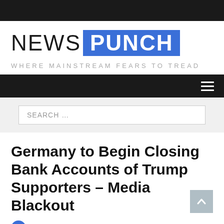[Figure (logo): NewsPunch logo: 'NEWS' in thin black letters followed by 'PUNCH' in bold white on blue rectangle, with tagline 'WHERE MAINSTREAM FEARS TO TREAD' in grey spaced capitals below]
Germany to Begin Closing Bank Accounts of Trump Supporters – Media Blackout
Fact checked